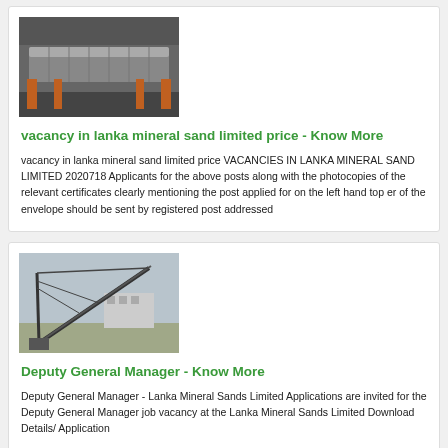[Figure (photo): Industrial conveyor or screening machine in a factory setting, metal equipment on orange supports]
vacancy in lanka mineral sand limited price - Know More
vacancy in lanka mineral sand limited price VACANCIES IN LANKA MINERAL SAND LIMITED 2020718 Applicants for the above posts along with the photocopies of the relevant certificates clearly mentioning the post applied for on the left hand top er of the envelope should be sent by registered post addressed
[Figure (photo): Industrial crane or conveyor belt structure outdoors, large diagonal arm with industrial building in background]
Deputy General Manager - Know More
Deputy General Manager - Lanka Mineral Sands Limited Applications are invited for the Deputy General Manager job vacancy at the Lanka Mineral Sands Limited Download Details/ Application